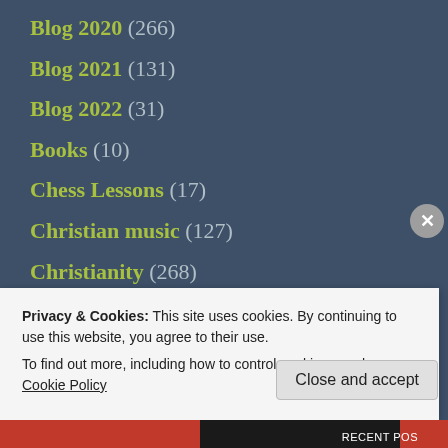Blog 2020 (266)
Blog 2021 (131)
Blog 2022 (31)
Books (10)
Chess Lessons (17)
Christian music (127)
Christianity (268)
Christmas (13)
Christmas music (33)
Classical music (7)
Privacy & Cookies: This site uses cookies. By continuing to use this website, you agree to their use.
To find out more, including how to control cookies, see here: Cookie Policy
Close and accept